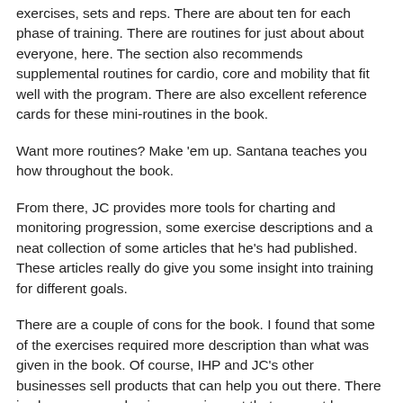exercises, sets and reps. There are about ten for each phase of training. There are routines for just about about everyone, here. The section also recommends supplemental routines for cardio, core and mobility that fit well with the program. There are also excellent reference cards for these mini-routines in the book.
Want more routines? Make 'em up. Santana teaches you how throughout the book.
From there, JC provides more tools for charting and monitoring progression, some exercise descriptions and a neat collection of some articles that he's had published. These articles really do give you some insight into training for different goals.
There are a couple of cons for the book. I found that some of the exercises required more description than what was given in the book. Of course, IHP and JC's other businesses sell products that can help you out there. There is also some emphasis on equipment that may not be easy to come by. You should have little trouble substituting, however.